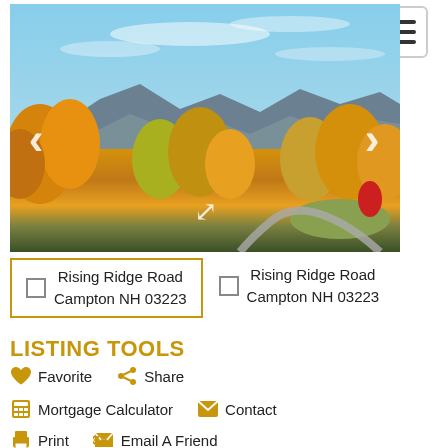[Figure (photo): Aerial/elevated autumn landscape photo showing colorful fall foliage trees in orange, yellow, and red with blue sky, mountains in background, and a winding road through the scene. Navigation arrows on left and right, expand icon in center bottom.]
Rising Ridge Road
Campton NH 03223
Rising Ridge Road
Campton NH 03223
LISTING TOOLS
Favorite
Share
Mortgage Calculator
Contact
Print
Email A Friend